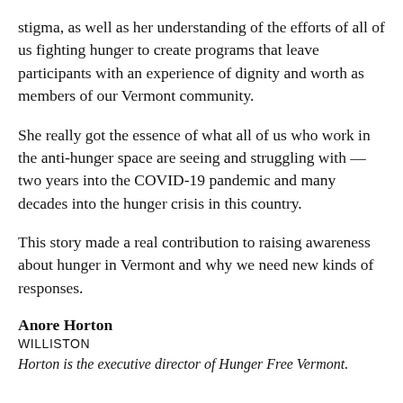stigma, as well as her understanding of the efforts of all of us fighting hunger to create programs that leave participants with an experience of dignity and worth as members of our Vermont community.
She really got the essence of what all of us who work in the anti-hunger space are seeing and struggling with — two years into the COVID-19 pandemic and many decades into the hunger crisis in this country.
This story made a real contribution to raising awareness about hunger in Vermont and why we need new kinds of responses.
Anore Horton
WILLISTON
Horton is the executive director of Hunger Free Vermont.